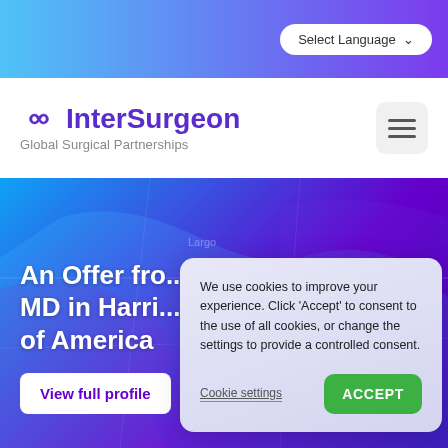Select Language
InterSurgeon — Global Surgical Partnerships
[Figure (screenshot): Map background showing Florida/USA area with purple and blue color overlay]
An Offer from MD in Harrisburg, United States of America
View full profile
We use cookies to improve your experience. Click 'Accept' to consent to the use of all cookies, or change the settings to provide a controlled consent.
Cookie settings
ACCEPT